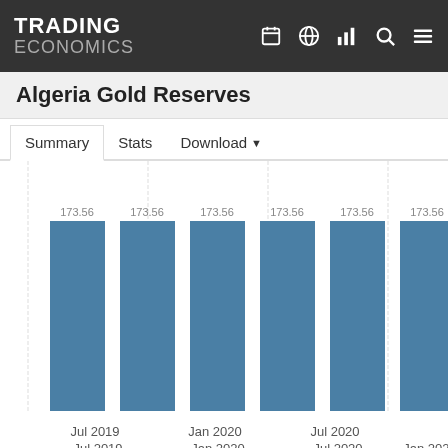TRADING ECONOMICS
Algeria Gold Reserves
Summary  Stats  Download
[Figure (bar-chart): Algeria Gold Reserves]